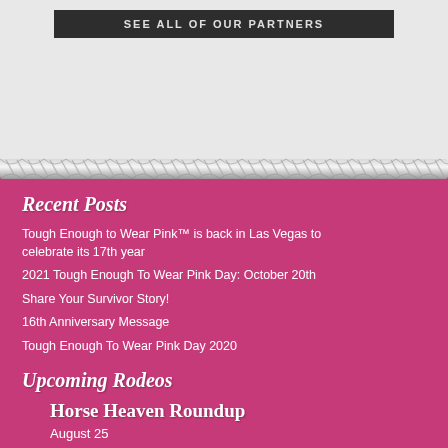SEE ALL OF OUR PARTNERS
Recent Posts
Tough Enough to Wear Pink™ is back in Las Vegas to celebrate its 17th year
2021 Tough Enough To Wear Pink Day: October 20th
Share Your Survivor Story!
16th Anniversary Message
Tough Enough To Wear Pink Day 2020
Upcoming Rodeos
Horse Heaven Roundup
August 25